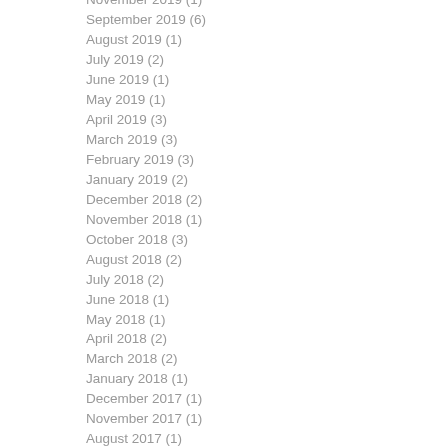November 2019 (1)
September 2019 (6)
August 2019 (1)
July 2019 (2)
June 2019 (1)
May 2019 (1)
April 2019 (3)
March 2019 (3)
February 2019 (3)
January 2019 (2)
December 2018 (2)
November 2018 (1)
October 2018 (3)
August 2018 (2)
July 2018 (2)
June 2018 (1)
May 2018 (1)
April 2018 (2)
March 2018 (2)
January 2018 (1)
December 2017 (1)
November 2017 (1)
August 2017 (1)
July 2017 (1)